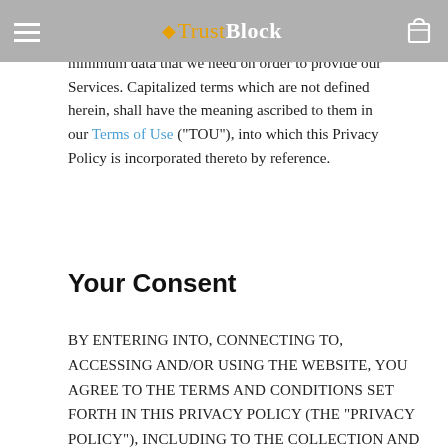TrustBlock — navigation header with hamburger menu and cart icon
we may collect and use when you visit and/or use our Website. We strive to collect only the essential minimum data that we need on order to provide our Services. Capitalized terms which are not defined herein, shall have the meaning ascribed to them in our Terms of Use ("TOU"), into which this Privacy Policy is incorporated thereto by reference.
Your Consent
BY ENTERING INTO, CONNECTING TO, ACCESSING AND/OR USING THE WEBSITE, YOU AGREE TO THE TERMS AND CONDITIONS SET FORTH IN THIS PRIVACY POLICY (THE "PRIVACY POLICY"), INCLUDING TO THE COLLECTION AND PROCESSING OF YOUR PERSONAL INFORMATION (AS DEFINED BELOW). IF YOU DISAGREE TO ANY TERM PROVIDED HEREIN, YOU MAY NOT